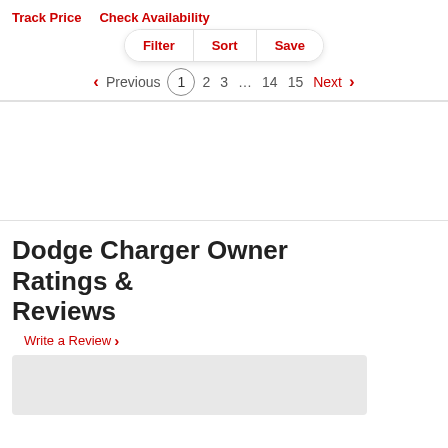Track Price   Check Availability
Filter  Sort  Save
Previous 1 2 3 … 14 15 Next
Dodge Charger Owner Ratings & Reviews
Write a Review